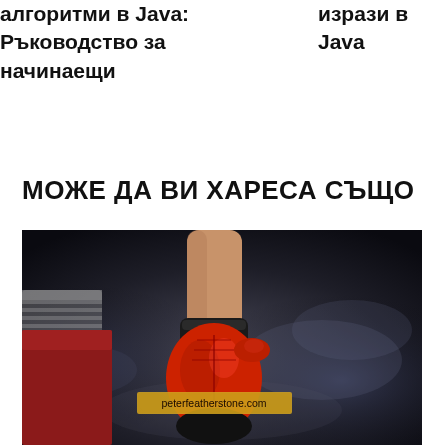алгоритми в Java: Ръководство за начинаещи
изрази в Java
МОЖЕ ДА ВИ ХАРЕСА СЪЩО
[Figure (photo): Boxing glove photo: a boxer's arm and red boxing glove raised upward against a smoky dark background. A watermark label reading 'peterfeatherstone.com' appears in the lower center of the image.]